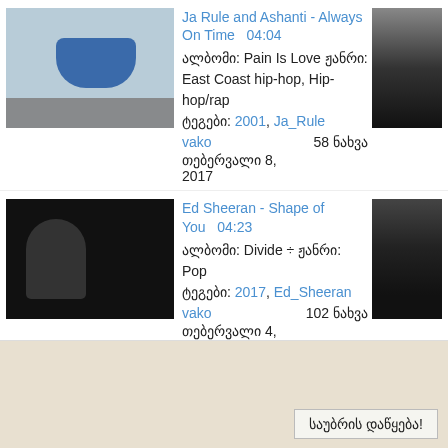[Figure (photo): Thumbnail image for Ja Rule and Ashanti music entry - interior scene with blue car]
Ja Rule and Ashanti - Always On Time   04:04
ალბომი: Pain Is Love ჟანრი: East Coast hip-hop, Hip-hop/rap
ტეგები: 2001, Ja_Rule
vako   58 ნახვა
თებერვალი 8, 2017
[Figure (photo): Thumbnail image right side - dark interior]
[Figure (photo): Thumbnail image for Ed Sheeran entry - dark silhouette]
Ed Sheeran - Shape of You   04:23
ალბომი: Divide ÷ ჟანრი: Pop
ტეგები: 2017, Ed_Sheeran
vako   102 ნახვა
თებერვალი 4, 2017
[Figure (photo): Thumbnail image right side - dark night scene]
‹ წინა   1   2   3   ...   50   შემდეგი ›
[Figure (other): RSS feed icon]
საუბრის დაწყება!